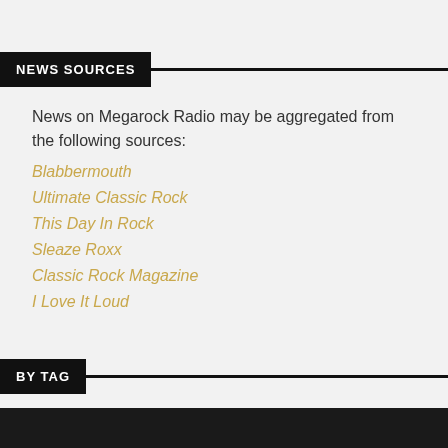NEWS SOURCES
News on Megarock Radio may be aggregated from the following sources:
Blabbermouth
Ultimate Classic Rock
This Day In Rock
Sleaze Roxx
Classic Rock Magazine
I Love It Loud
BY TAG
ALBUM
AMP
BAND
BEATLES
BLACK